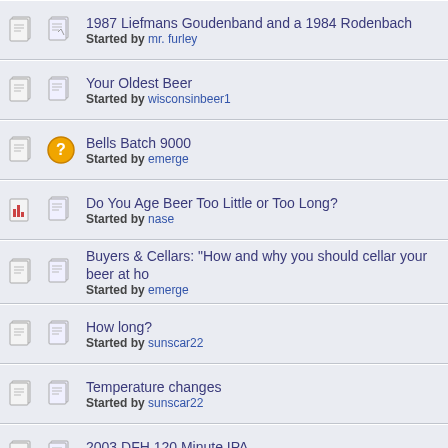1987 Liefmans Goudenband and a 1984 Rodenbach
Started by mr. furley
Your Oldest Beer
Started by wisconsinbeer1
Bells Batch 9000
Started by emerge
Do You Age Beer Too Little or Too Long?
Started by nase
Buyers & Cellars: "How and why you should cellar your beer at ho...
Started by emerge
How long?
Started by sunscar22
Temperature changes
Started by sunscar22
2003 DFH 120 Minute IPA
Started by Jaysus
Does "dumb phase" exist for beer?
Started by rhoadsrage